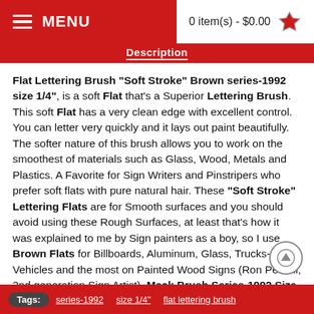MENU   0 item(s) - $0.00
Description
Flat Lettering Brush "Soft Stroke" Brown series-1992 size 1/4", is a soft Flat that's a Superior Lettering Brush. This soft Flat has a very clean edge with excellent control. You can letter very quickly and it lays out paint beautifully. The softer nature of this brush allows you to work on the smoothest of materials such as Glass, Wood, Metals and Plastics. A Favorite for Sign Writers and Pinstripers who prefer soft flats with pure natural hair. These "Soft Stroke" Lettering Flats are for Smooth surfaces and you should avoid using these Rough Surfaces, at least that's how it was explained to me by Sign painters as a boy, so I use Brown Flats for Billboards, Aluminum, Glass, Trucks-Vehicles and the most on Painted Wood Signs (Ron Percell, 2nd generation Sign Artist). Mack Brush Series-1992 Size 1/4", Length Out 1-1 3/8", soft Black Flat, 100% Blue Squirrel Hair, Seamless Nickel Ferrule, Long Black Handle. Individual brushes listed BELOW!
Tags:   series-1992   size 1/4"   flat lettering brush